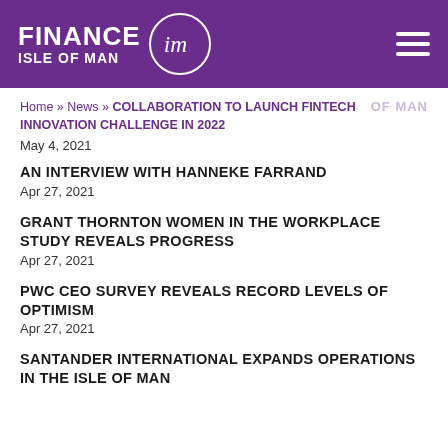[Figure (logo): Finance Isle of Man logo with purple header bar and hamburger menu icon]
Home » News » COLLABORATION TO LAUNCH FINTECH INNOVATION CHALLENGE IN 2022
May 4, 2021
AN INTERVIEW WITH HANNEKE FARRAND
Apr 27, 2021
GRANT THORNTON WOMEN IN THE WORKPLACE STUDY REVEALS PROGRESS
Apr 27, 2021
PWC CEO SURVEY REVEALS RECORD LEVELS OF OPTIMISM
Apr 27, 2021
SANTANDER INTERNATIONAL EXPANDS OPERATIONS IN THE ISLE OF MAN